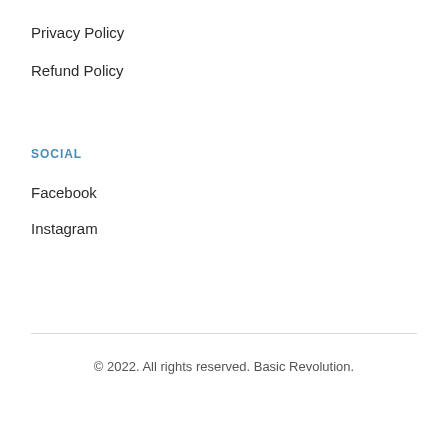Privacy Policy
Refund Policy
SOCIAL
Facebook
Instagram
© 2022. All rights reserved. Basic Revolution.